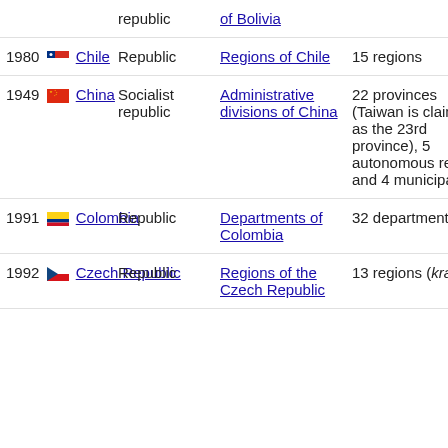| Year / Country | Government type | Admin divisions | Notes |
| --- | --- | --- | --- |
| 1980 Chile | Republic | Regions of Chile | 15 regions |
| 1949 China | Socialist republic | Administrative divisions of China | 22 provinces (Taiwan is claimed as the 23rd province), 5 autonomous regions and 4 municipalities |
| 1991 Colombia | Republic | Departments of Colombia | 32 departments |
| 1992 Czech Republic | Republic | Regions of the Czech Republic | 13 regions (kraje) |